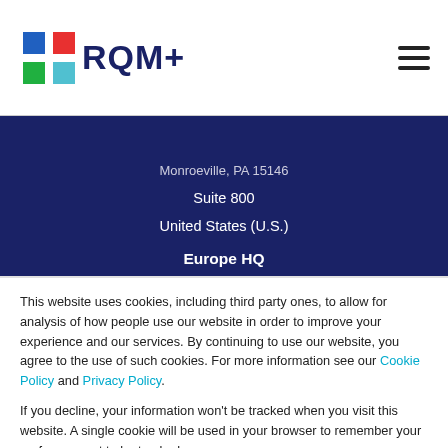RQM+
Monroeville, PA 15146
Suite 800
United States (U.S.)
Europe HQ
This website uses cookies, including third party ones, to allow for analysis of how people use our website in order to improve your experience and our services. By continuing to use our website, you agree to the use of such cookies. For more information see our Cookie Policy and Privacy Policy.
If you decline, your information won't be tracked when you visit this website. A single cookie will be used in your browser to remember your preference not to be tracked.